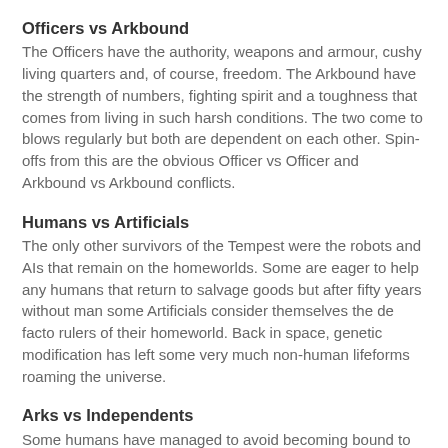Officers vs Arkbound
The Officers have the authority, weapons and armour, cushy living quarters and, of course, freedom. The Arkbound have the strength of numbers, fighting spirit and a toughness that comes from living in such harsh conditions. The two come to blows regularly but both are dependent on each other. Spin-offs from this are the obvious Officer vs Officer and Arkbound vs Arkbound conflicts.
Humans vs Artificials
The only other survivors of the Tempest were the robots and AIs that remain on the homeworlds. Some are eager to help any humans that return to salvage goods but after fifty years without man some Artificials consider themselves the de facto rulers of their homeworld. Back in space, genetic modification has left some very much non-human lifeforms roaming the universe.
Arks vs Independents
Some humans have managed to avoid becoming bound to an Ark, whether through surviving on an orbital colony or